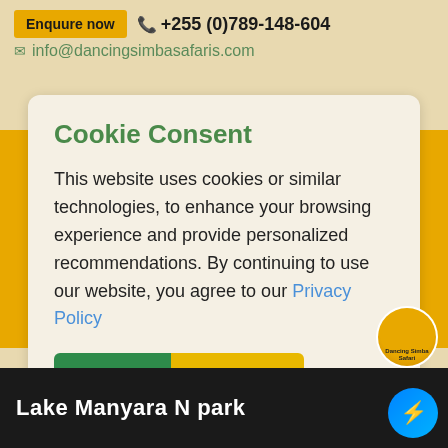Enquire now  ☎+255 (0)789-148-604  ✉ info@dancingsimbasafaris.com
Cookie Consent
This website uses cookies or similar technologies, to enhance your browsing experience and provide personalized recommendations. By continuing to use our website, you agree to our Privacy Policy
Accept  disagree
Lake Manyara N park